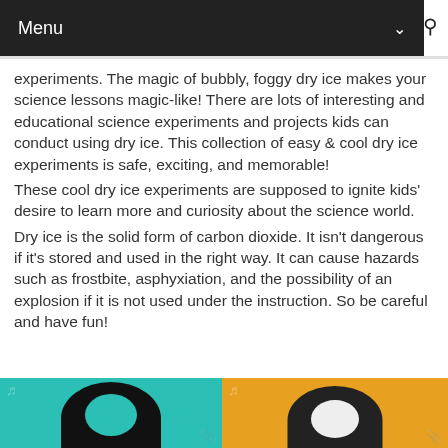Menu
experiments. The magic of bubbly, foggy dry ice makes your science lessons magic-like! There are lots of interesting and educational science experiments and projects kids can conduct using dry ice. This collection of easy & cool dry ice experiments is safe, exciting, and memorable!
These cool dry ice experiments are supposed to ignite kids' desire to learn more and curiosity about the science world.
Dry ice is the solid form of carbon dioxide. It isn't dangerous if it's stored and used in the right way. It can cause hazards such as frostbite, asphyxiation, and the possibility of an explosion if it is not used under the instruction. So be careful and have fun!
[Figure (photo): Two side-by-side illustrated images at the bottom of the page. Left image has a teal/green background with a black cartoon face silhouette. Right image has an orange background with a white/light cartoon face silhouette.]